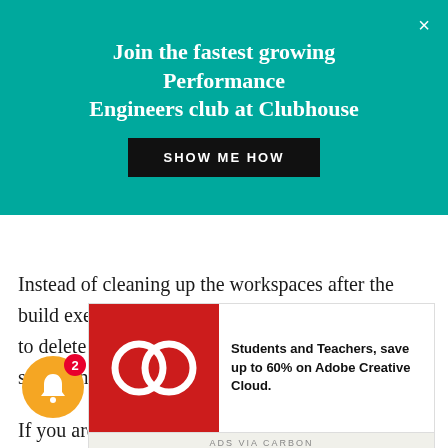Join the fastest growing Performance Engineers club at Clubhouse
Instead of cleaning up the workspaces after the build execution manually, you can instruct Jenkins to delete the workspace before and after the build step using this Workspace Cleanup plugin.
CLI
[Figure (other): Adobe Creative Cloud advertisement: red square with Adobe CC logo, text 'Students and Teachers, save up to 60% on Adobe Creative Cloud.' ADS VIA CARBON]
If you are CLIF platform for performance tests,